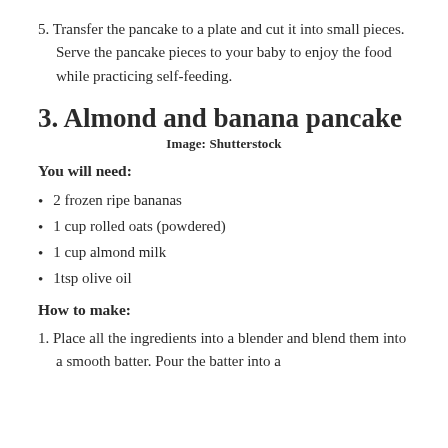5. Transfer the pancake to a plate and cut it into small pieces. Serve the pancake pieces to your baby to enjoy the food while practicing self-feeding.
3. Almond and banana pancake
Image: Shutterstock
You will need:
2 frozen ripe bananas
1 cup rolled oats (powdered)
1 cup almond milk
1tsp olive oil
How to make:
1. Place all the ingredients into a blender and blend them into a smooth batter. Pour the batter into a